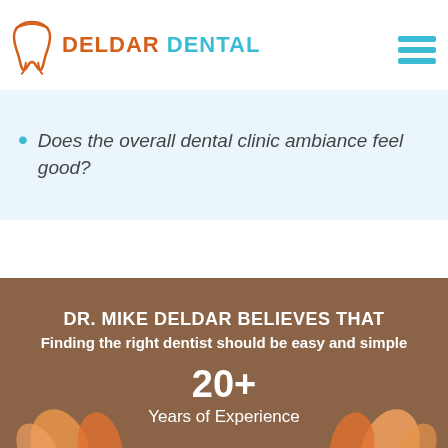[Figure (logo): Deldar Dental logo with tooth icon. DELDAR in orange, DENTAL in teal/cyan.]
Does the overall dental clinic ambiance feel good?
DR. MIKE DELDAR BELIEVES THAT
Finding the right dentist should be easy and simple
20+
Years of Experience
[Figure (illustration): Colorful hands raised up from the bottom of the brown section, decorative illustration.]